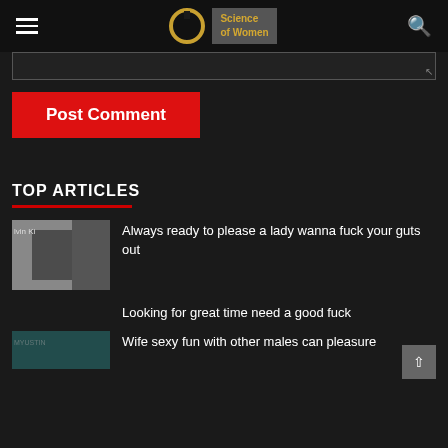Science of Women
Post Comment
TOP ARTICLES
Always ready to please a lady wanna fuck your guts out
Looking for great time need a good fuck
Wife sexy fun with other males can pleasure